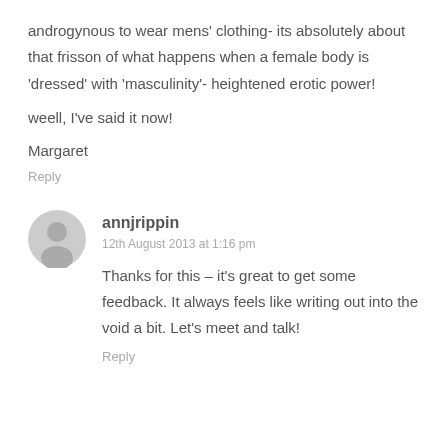androgynous to wear mens' clothing- its absolutely about that frisson of what happens when a female body is 'dressed' with 'masculinity'- heightened erotic power!
weell, I've said it now!
Margaret
Reply
annjrippin
12th August 2013 at 1:16 pm
Thanks for this – it's great to get some feedback. It always feels like writing out into the void a bit. Let's meet and talk!
Reply